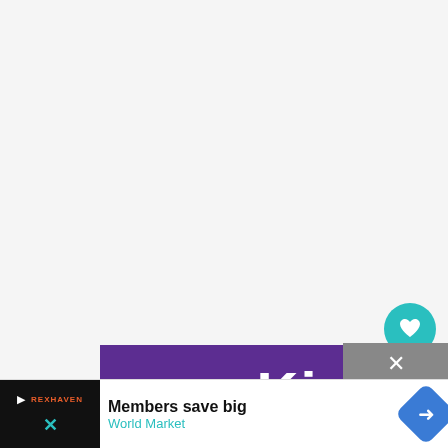[Figure (screenshot): Large light gray/white blank content area at top of page, resembling a webpage with mostly empty main content region]
[Figure (screenshot): Purple banner with bold white text reading 'Kind Ninja']
[Figure (screenshot): Teal circular like/heart button with 927 count below it, and a teal circular share button below that]
Members save big
World Market